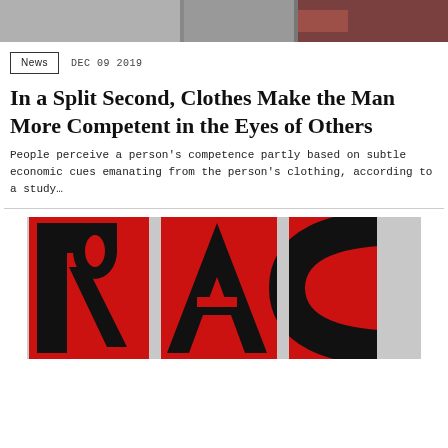[Figure (photo): Top banner image showing partial photos, appears to be a collage of news images]
News   DEC 09 2019
In a Split Second, Clothes Make the Man More Competent in the Eyes of Others
People perceive a person’s competence partly based on subtle economic cues emanating from the person’s clothing, according to a study…
[Figure (photo): Close-up image of large bold letters spelling RACE or RACISM in black and red on a grey/concrete background]